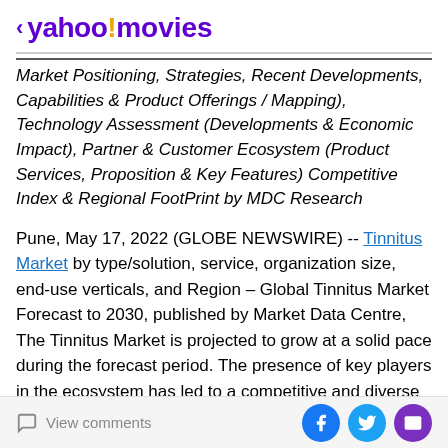< yahoo!movies
Market Positioning, Strategies, Recent Developments, Capabilities & Product Offerings / Mapping), Technology Assessment (Developments & Economic Impact), Partner & Customer Ecosystem (Product Services, Proposition & Key Features) Competitive Index & Regional FootPrint by MDC Research
Pune, May 17, 2022 (GLOBE NEWSWIRE) -- Tinnitus Market by type/solution, service, organization size, end-use verticals, and Region – Global Tinnitus Market Forecast to 2030, published by Market Data Centre, The Tinnitus Market is projected to grow at a solid pace during the forecast period. The presence of key players in the ecosystem has led to a competitive and diverse
View comments